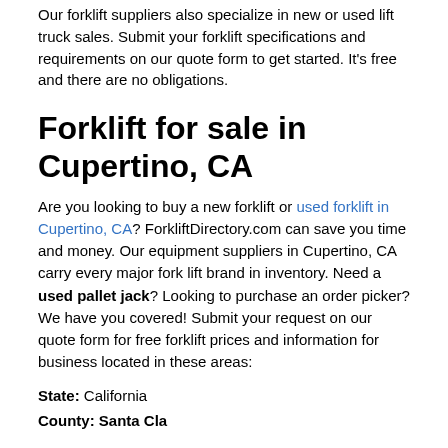Our forklift suppliers also specialize in new or used lift truck sales. Submit your forklift specifications and requirements on our quote form to get started. It's free and there are no obligations.
Forklift for sale in Cupertino, CA
Are you looking to buy a new forklift or used forklift in Cupertino, CA? ForkliftDirectory.com can save you time and money. Our equipment suppliers in Cupertino, CA carry every major fork lift brand in inventory. Need a used pallet jack? Looking to purchase an order picker? We have you covered! Submit your request on our quote form for free forklift prices and information for business located in these areas:
State: California
County: Santa Clara...